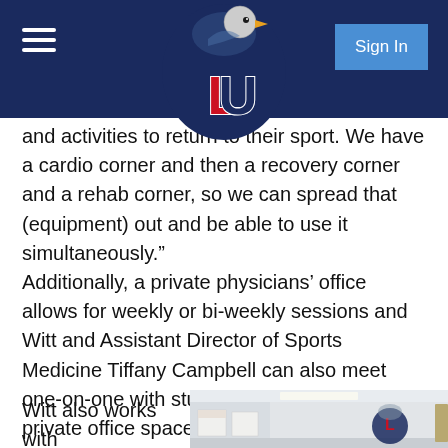Liberty University header with LU logo and Sign In button
and activities to return to their sport. We have a cardio corner and then a recovery corner and a rehab corner, so we can spread that (equipment) out and be able to use it simultaneously.”
Additionally, a private physicians’ office allows for weekly or bi-weekly sessions and Witt and Assistant Director of Sports Medicine Tiffany Campbell can also meet one-on-one with student-athletes in their new private office spaces.
Witt also works with
[Figure (photo): Interior photo of a sports medicine room with white walls, a Liberty University Flames logo (eagle) on the wall, ceiling lights, and posters/charts on the walls.]